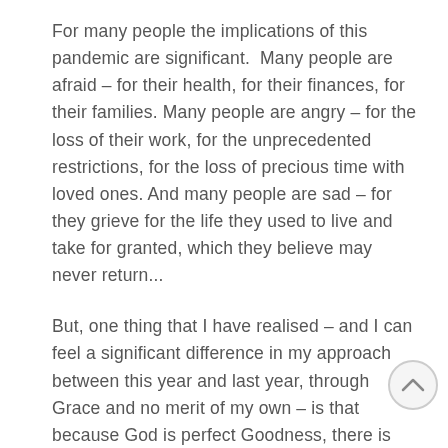For many people the implications of this pandemic are significant.  Many people are afraid – for their health, for their finances, for their families. Many people are angry – for the loss of their work, for the unprecedented restrictions, for the loss of precious time with loved ones. And many people are sad – for they grieve for the life they used to live and take for granted, which they believe may never return...
But, one thing that I have realised – and I can feel a significant difference in my approach between this year and last year, through Grace and no merit of my own – is that because God is perfect Goodness, there is nothing to fear!  In fact – through